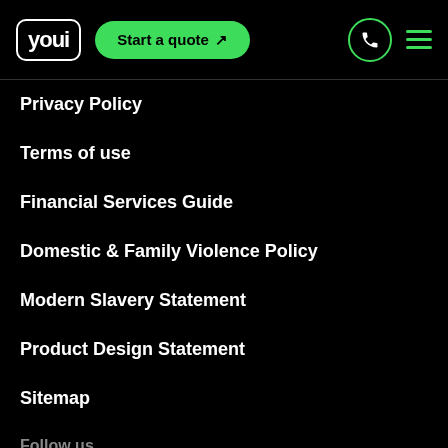youi | Start a quote ↗
Privacy Policy
Terms of use
Financial Services Guide
Domestic & Family Violence Policy
Modern Slavery Statement
Product Design Statement
Sitemap
Follow us
Youtube
Facebook
Twitter